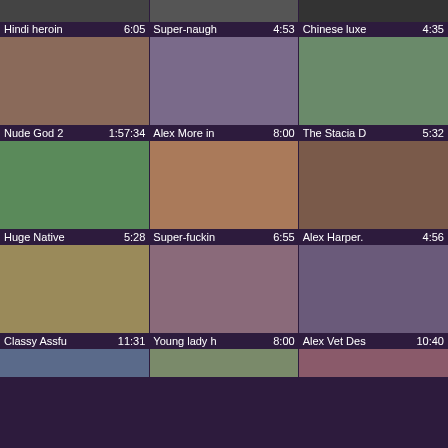[Figure (screenshot): Video thumbnail grid row 1 - three partially visible thumbnails at top]
Hindi heroin  6:05   Super-naugh  4:53   Chinese luxe  4:35
[Figure (screenshot): Row 2 thumbnails: Nude God 2, Alex More in, The Stacia D]
Nude God 2  1:57:34   Alex More in  8:00   The Stacia D  5:32
[Figure (screenshot): Row 3 thumbnails: Huge Native, Super-fuckin, Alex Harper]
Huge Native  5:28   Super-fuckin  6:55   Alex Harper.  4:56
[Figure (screenshot): Row 4 thumbnails: Classy Assfu, Young lady h, Alex Vet Des]
Classy Assfu  11:31   Young lady h  8:00   Alex Vet Des  10:40
[Figure (screenshot): Row 5 - partially visible thumbnails at bottom]